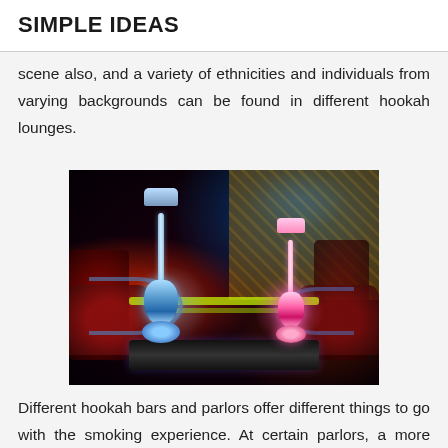SIMPLE IDEAS
scene also, and a variety of ethnicities and individuals from varying backgrounds can be found in different hookah lounges.
[Figure (photo): Interior of a hookah lounge showing two illuminated hookahs on a dark table — one with blue glowing vase on the left and one with pink/red glowing vase on the right — surrounded by red lounge seating, decorative wall panels, and atmospheric colored lighting.]
Different hookah bars and parlors offer different things to go with the smoking experience. At certain parlors, a more established clientele comes to play cards, backgammon, or chess, while pool tables, video